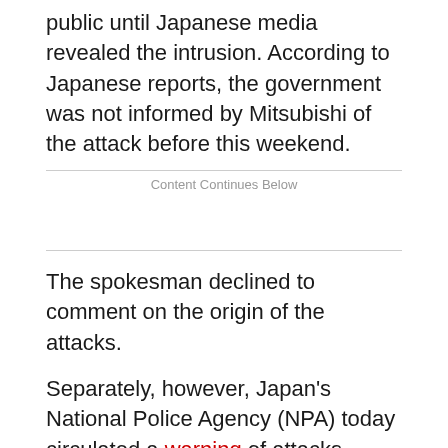public until Japanese media revealed the intrusion. According to Japanese reports, the government was not informed by Mitsubishi of the attack before this weekend.
Content Continues Below
The spokesman declined to comment on the origin of the attacks.
Separately, however, Japan's National Police Agency (NPA) today circulated a warning of attacks against government websites based on chatter in Chinese forums.